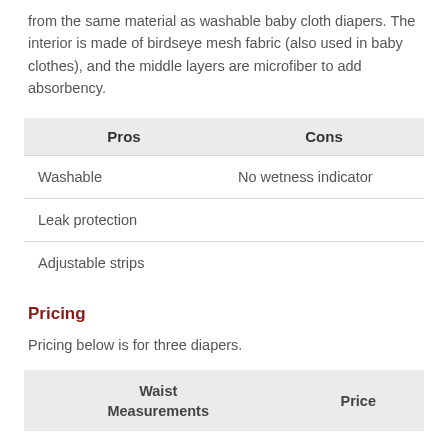from the same material as washable baby cloth diapers. The interior is made of birdseye mesh fabric (also used in baby clothes), and the middle layers are microfiber to add absorbency.
| Pros | Cons |
| --- | --- |
| Washable | No wetness indicator |
| Leak protection |  |
| Adjustable strips |  |
Pricing
Pricing below is for three diapers.
| Waist
Measurements | Price |
| --- | --- |